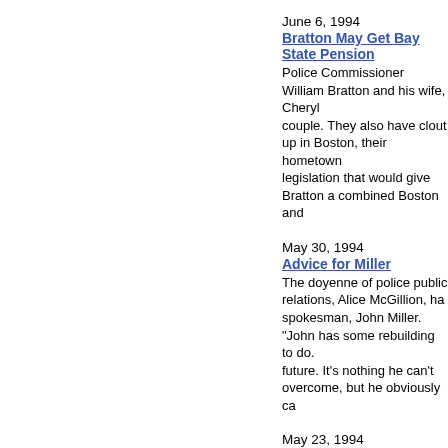June 6, 1994
Bratton May Get Bay State Pension
Police Commissioner William Bratton and his wife, Cheryl couple. They also have clout up in Boston, their hometown legislation that would give Bratton a combined Boston and
May 30, 1994
Advice for Miller
The doyenne of police public relations, Alice McGillion, ha spokesman, John Miller. "John has some rebuilding to do. future. It's nothing he can't overcome, but he obviously ca
May 23, 1994
Park Rape Case: Whose Hoax?
Last week, Police Commissioner William Bratton finally did forensic evidence indicates the Prospect Park rape case is Daily News columnist Mike McAlary.
May 16, 1994
So, Who's Watching This Investigation?
Guess who is conducting the interviews with witnesses in on Staten Island?
May 2, 1994
Career, Policy Are Finished
The NYPD says a case like that of Officer Eric Mercer of B Mercer, 29, a cop for just two years, was fired last week fo badly as it ended.
April 25, 1994